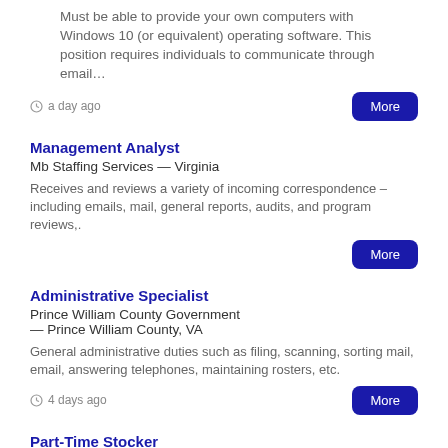Must be able to provide your own computers with Windows 10 (or equivalent) operating software. This position requires individuals to communicate through email…
a day ago
Management Analyst
Mb Staffing Services — Virginia
Receives and reviews a variety of incoming correspondence – including emails, mail, general reports, audits, and program reviews,.
Administrative Specialist
Prince William County Government — Prince William County, VA
General administrative duties such as filing, scanning, sorting mail, email, answering telephones, maintaining rosters, etc.
4 days ago
Part-Time Stocker
ALDI — Manassas, VA